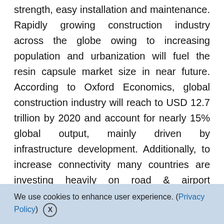strength, easy installation and maintenance. Rapidly growing construction industry across the globe owing to increasing population and urbanization will fuel the resin capsule market size in near future. According to Oxford Economics, global construction industry will reach to USD 12.7 trillion by 2020 and account for nearly 15% global output, mainly driven by infrastructure development. Additionally, to increase connectivity many countries are investing heavily on road & airport construction, which is likely to help the resin capsule market share to growth over the stipulated time period,
We use cookies to enhance user experience. (Privacy Policy) X